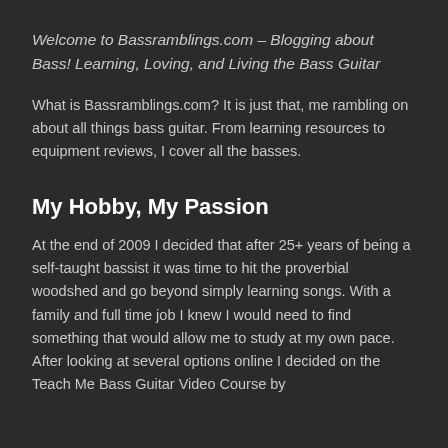Welcome to Bassramblings.com – Blogging about Bass! Learning, Loving, and Living the Bass Guitar
What is Bassramblings.com? It is just that, me rambling on about all things bass guitar. From learning resources to equipment reviews, I cover all the basses.
My Hobby, My Passion
At the end of 2009 I decided that after 25+ years of being a self-taught bassist it was time to hit the proverbial woodshed and go beyond simply learning songs. With a family and full time job I knew I would need to find something that would allow me to study at my own pace. After looking at several options online I decided on the Teach Me Bass Guitar Video Course by